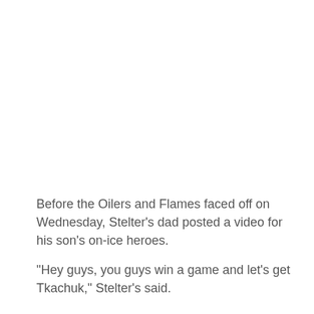Before the Oilers and Flames faced off on Wednesday, Stelter's dad posted a video for his son's on-ice heroes.
"Hey guys, you guys win a game and let's get Tkachuk," Stelter's said.